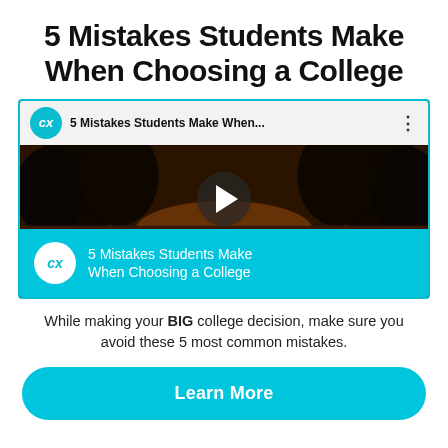5 Mistakes Students Make When Choosing a College
[Figure (screenshot): YouTube-style video thumbnail showing '5 Mistakes Students Make When...' with a dark forest road scene, play button in center, CollegeXpress logo and title in top bar, and cyan bottom overlay with logo and title text.]
While making your BIG college decision, make sure you avoid these 5 most common mistakes.
Learn More